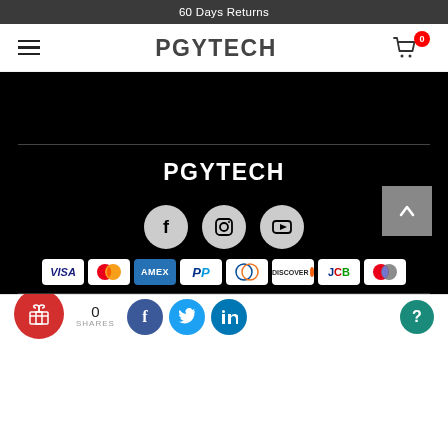60 Days Returns
[Figure (logo): PGYTECH logo in header navigation bar with hamburger menu and cart icon showing 0 items]
[Figure (logo): PGYTECH white logo on black background footer section]
[Figure (infographic): Social media icons: Facebook, Instagram, YouTube in grey circles on black background]
[Figure (infographic): Payment method icons: Visa, Mastercard, Amex, PayPal, Diners Club, Discover, JCB, Maestro]
0 SHARES
[Figure (infographic): Social share buttons: Facebook, Twitter, LinkedIn, and help circle icon]